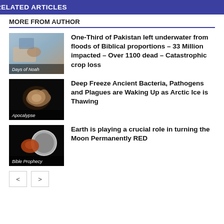RELATED ARTICLES
MORE FROM AUTHOR
[Figure (photo): Thumbnail image with label 'Days of Noah']
One-Third of Pakistan left underwater from floods of Biblical proportions – 33 Million impacted – Over 1100 dead – Catastrophic crop loss
[Figure (photo): Thumbnail image with label 'Apocalypse']
Deep Freeze Ancient Bacteria, Pathogens and Plagues are Waking Up as Arctic Ice is Thawing
[Figure (photo): Thumbnail image with label 'Bible Prophecy']
Earth is playing a crucial role in turning the Moon Permanently RED